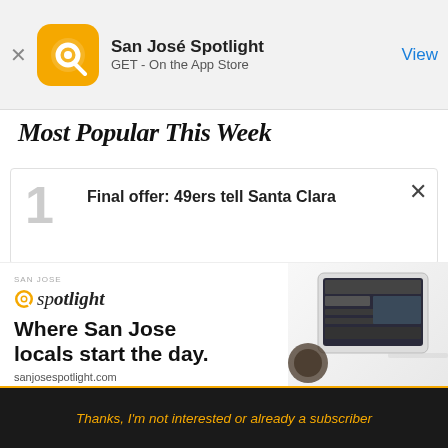[Figure (screenshot): App Store banner for San José Spotlight app with orange logo, app name, 'GET - On the App Store' subtitle, and blue 'View' button]
Most Popular This Week
Final offer: 49ers tell Santa Clara
[Figure (advertisement): San Jose Spotlight ad: logo, tagline 'Where San Jose locals start the day.', sanjosespotlight.com, with tablet/coffee image on right]
EMAIL ADDRESS
SUBSCRIBE
Thanks, I'm not interested or already a subscriber